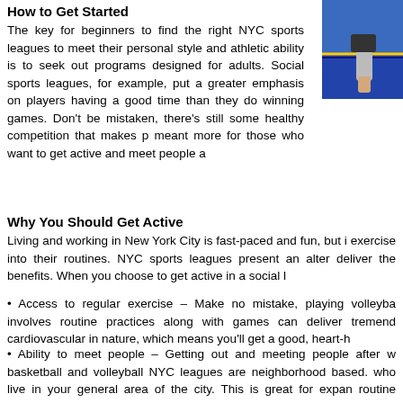[Figure (photo): A person playing volleyball or sports, with a blue court background visible, showing an arm and hand holding or hitting a ball.]
How to Get Started
The key for beginners to find the right NYC sports leagues to meet their personal style and athletic ability is to seek out programs designed for adults. Social sports leagues, for example, put a greater emphasis on players having a good time than they do winning games. Don't be mistaken, there's still some healthy competition that makes p meant more for those who want to get active and meet people a
Why You Should Get Active
Living and working in New York City is fast-paced and fun, but i exercise into their routines. NYC sports leagues present an alter deliver the benefits. When you choose to get active in a social l
Access to regular exercise – Make no mistake, playing volleyba involves routine practices along with games can deliver tremend cardiovascular in nature, which means you'll get a good, heart-h
Ability to meet people – Getting out and meeting people after w basketball and volleyball NYC leagues are neighborhood based. who live in your general area of the city. This is great for expan routine physical activity.